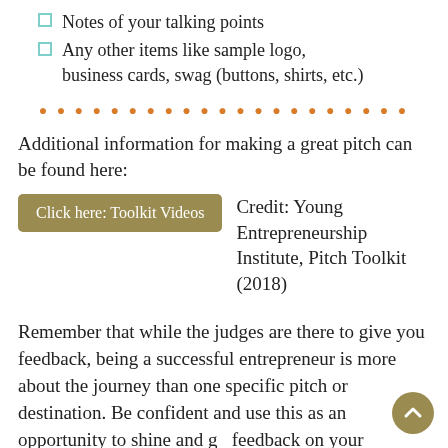Notes of your talking points
Any other items like sample logo, business cards, swag (buttons, shirts, etc.)
• • • • • • • • • • • • • • • • • • • • •
Additional information for making a great pitch can be found here:
Click here: Toolkit Videos   Credit: Young Entrepreneurship Institute, Pitch Toolkit (2018)
Remember that while the judges are there to give you feedback, being a successful entrepreneur is more about the journey than one specific pitch or destination. Be confident and use this as an opportunity to shine and get feedback on your innovation. Regardless of